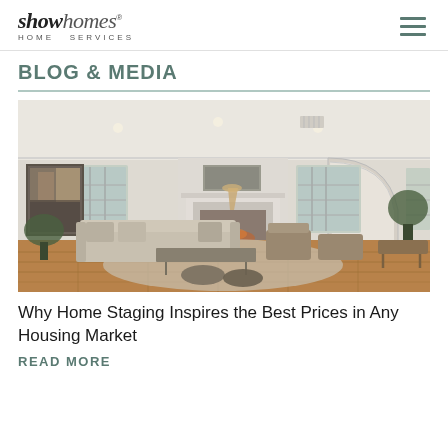showhomes HOME SERVICES
BLOG & MEDIA
[Figure (photo): Staged living room interior with sofa, chairs, fireplace, artwork on wall, hardwood floors and arched doorway]
Why Home Staging Inspires the Best Prices in Any Housing Market
READ MORE